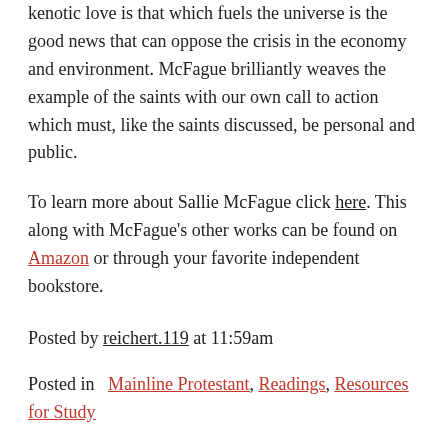kenotic love is that which fuels the universe is the good news that can oppose the crisis in the economy and environment. McFague brilliantly weaves the example of the saints with our own call to action which must, like the saints discussed, be personal and public.
To learn more about Sallie McFague click here. This along with McFague's other works can be found on Amazon or through your favorite independent bookstore.
Posted by reichert.119 at 11:59am
Posted in  Mainline Protestant, Readings, Resources for Study